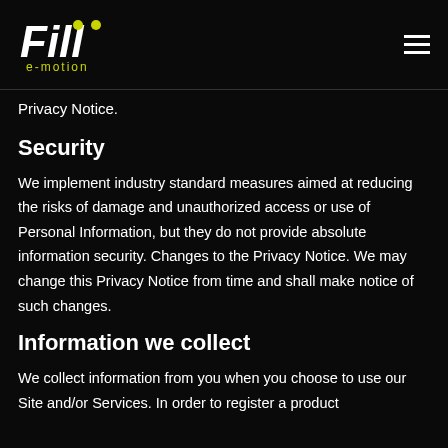Fiil e-motion logo and navigation
Privacy Notice.
Security
We implement industry standard measures aimed at reducing the risks of damage and unauthorized access or use of Personal Information, but they do not provide absolute information security. Changes to the Privacy Notice. We may change this Privacy Notice from time and shall make notice of such changes.
Information we collect
We collect information from you when you choose to use our Site and/or Services. In order to register a product